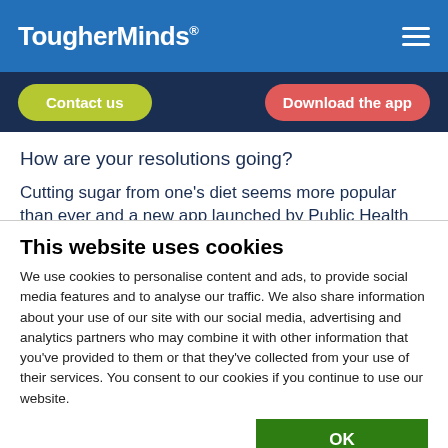TougherMinds®
[Figure (screenshot): Navigation bar with 'Contact us' green pill button and 'Download the app' red pill button on dark navy background]
How are your resolutions going?
Cutting sugar from one's diet seems more popular than ever and a new app launched by Public Health England aims to help people do just that. Scan the barcode of a product in the
This website uses cookies
We use cookies to personalise content and ads, to provide social media features and to analyse our traffic. We also share information about your use of our site with our social media, advertising and analytics partners who may combine it with other information that you've provided to them or that they've collected from your use of their services. You consent to our cookies if you continue to use our website.
OK
| Necessary | Preferences | Statistics | Show details |
| Marketing |  |  |  |